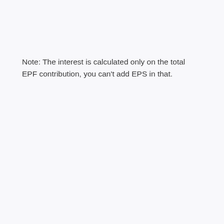Note: The interest is calculated only on the total EPF contribution, you can’t add EPS in that.